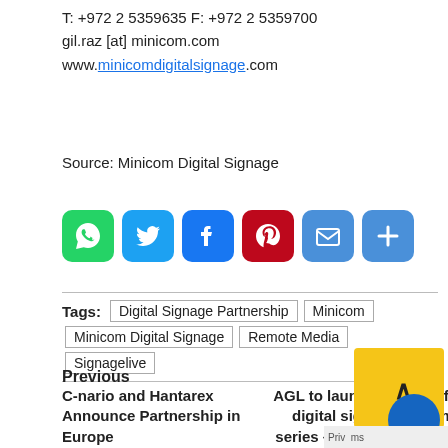T: +972 2 5359635 F: +972 2 5359700
gil.raz [at] minicom.com
www.minicomdigitalsignage.com
Source: Minicom Digital Signage
[Figure (other): Social share buttons: WhatsApp (green), Twitter (blue), Facebook (blue), Pinterest (dark red), Email (blue), More/Plus (blue)]
Tags: Digital Signage Partnership | Minicom | Minicom Digital Signage | Remote Media | Signagelive
Previous
C-nario and Hantarex Announce Partnership in Europe
Next
AGL to launch outdoor, full HD digital signage LCD monitor series – featuring full HD, high brightness, direct sunlight applicability and extra long s... li...